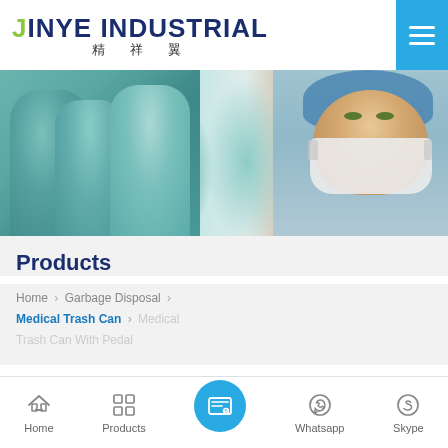[Figure (logo): Jinye Industrial logo with yellow J, dark blue text 'INYE INDUSTRIAL' and Chinese characters 精祥翼]
[Figure (photo): Surgical team in operating room wearing scrubs and face masks, one doctor looking at camera]
Products
Home > Garbage Disposal > Medical Trash Can > Medical Trash Can With Pedal
[Figure (other): Bottom navigation bar with Home, Products, inquiry form (center blue circle), Whatsapp, and Skype icons]